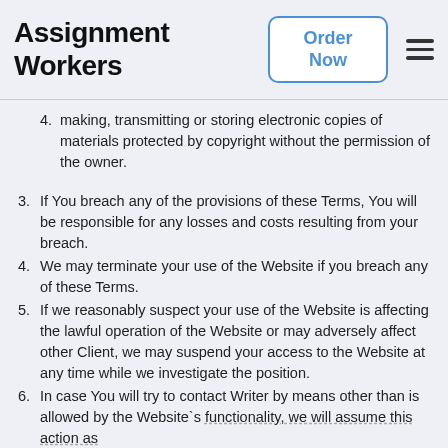Assignment Workers
4. making, transmitting or storing electronic copies of materials protected by copyright without the permission of the owner.
3. If You breach any of the provisions of these Terms, You will be responsible for any losses and costs resulting from your breach.
4. We may terminate your use of the Website if you breach any of these Terms.
5. If we reasonably suspect your use of the Website is affecting the lawful operation of the Website or may adversely affect other Client, we may suspend your access to the Website at any time while we investigate the position.
6. In case You will try to contact Writer by means other than is allowed by the Website`s functionality, we will assume this action as